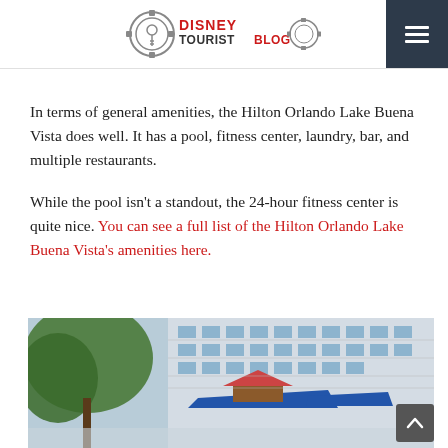Disney Tourist Blog
In terms of general amenities, the Hilton Orlando Lake Buena Vista does well. It has a pool, fitness center, laundry, bar, and multiple restaurants.
While the pool isn't a standout, the 24-hour fitness center is quite nice. You can see a full list of the Hilton Orlando Lake Buena Vista's amenities here.
[Figure (photo): Exterior photo of the Hilton Orlando Lake Buena Vista hotel building, showing multi-story structure with blue awnings and trees in foreground]